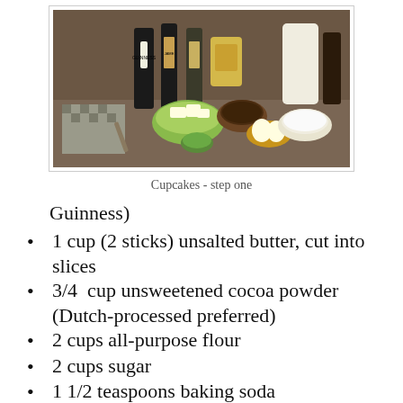[Figure (photo): Kitchen counter with baking ingredients: Guinness bottles, Jameson whiskey, butter, eggs, cocoa powder, cream cheese, and other baking supplies arranged on a countertop.]
Cupcakes - step one
Guinness)
1 cup (2 sticks) unsalted butter, cut into slices
3/4  cup unsweetened cocoa powder (Dutch-processed preferred)
2 cups all-purpose flour
2 cups sugar
1 1/2 teaspoons baking soda
3/4 teaspoon salt
2 large eggs